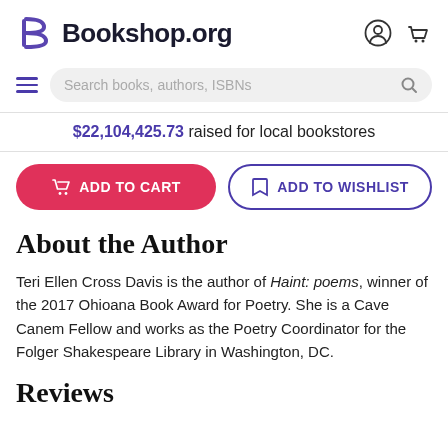Bookshop.org
$22,104,425.73 raised for local bookstores
ADD TO CART | ADD TO WISHLIST
About the Author
Teri Ellen Cross Davis is the author of Haint: poems, winner of the 2017 Ohioana Book Award for Poetry. She is a Cave Canem Fellow and works as the Poetry Coordinator for the Folger Shakespeare Library in Washington, DC.
Reviews